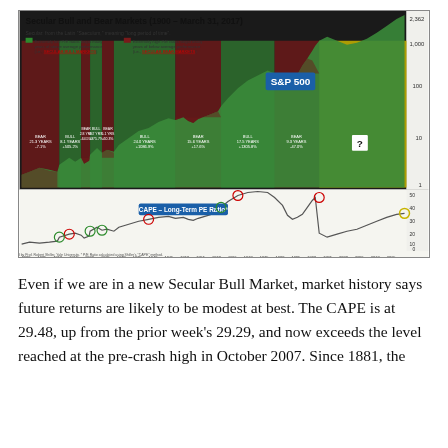[Figure (continuous-plot): A dual-panel chart showing the S&P 500 on a logarithmic scale (top panel, 1900-2017) with alternating green (secular bull) and dark red (secular bear) shaded regions, and yellow for current uncertain period. Each period is labeled with duration and performance. Bottom panel shows CAPE Long-Term PE Ratio over the same period with annotated peaks and troughs using colored circles. Y-axis right side shows values from 0 to 2,362. Legend explains green=extremely low P/E ratios begat many years of above average performance (secular bull markets) and dark red=extremely high P/E ratios begat many years of below average performance (secular bear markets). S&P 500 label in blue box visible in upper right of top panel.]
Even if we are in a new Secular Bull Market, market history says future returns are likely to be modest at best. The CAPE is at 29.48, up from the prior week's 29.29, and now exceeds the level reached at the pre-crash high in October 2007. Since 1881, the